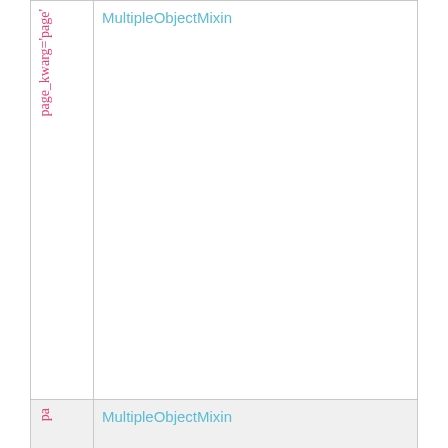|  |  |
| --- | --- |
| page_kwarg='page' | MultipleObjectMixin |
| pa | MultipleObjectMixin |